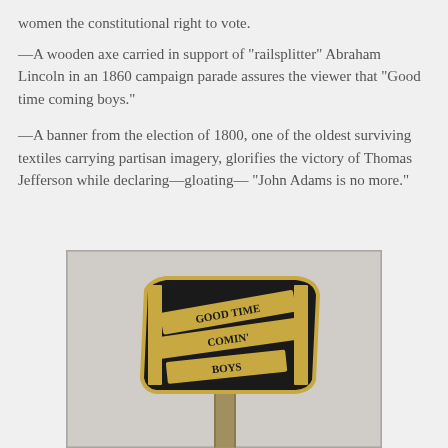women the constitutional right to vote.
—A wooden axe carried in support of "railsplitter" Abraham Lincoln in an 1860 campaign parade assures the viewer that "Good time coming boys."
—A banner from the election of 1800, one of the oldest surviving textiles carrying partisan imagery, glorifies the victory of Thomas Jefferson while declaring—gloating— "John Adams is no more."
[Figure (photo): A wooden axe-head on a handle, dark/black face with gold lettering reading 'GOOD TIME COMING BOYS' arranged across three diagonal banners, with gold border trim. Campaign artifact for Abraham Lincoln 1860.]